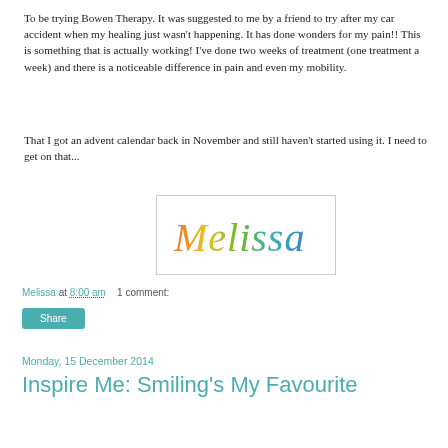To be trying Bowen Therapy. It was suggested to me by a friend to try after my car accident when my healing just wasn't happening. It has done wonders for my pain!! This is something that is actually working! I've done two weeks of treatment (one treatment a week) and there is a noticeable difference in pain and even my mobility.
That I got an advent calendar back in November and still haven't started using it. I need to get on that...
[Figure (illustration): Colorful cursive signature reading 'Melissa' in rainbow gradient colors (orange, yellow, green, blue) on a white background with a light border]
Melissa at 8:00 am   1 comment:
Share
Monday, 15 December 2014
Inspire Me: Smiling's My Favourite